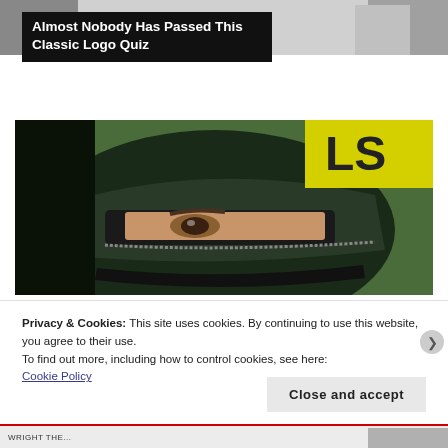[Figure (photo): Top strip with partial image of a person in formal attire, light grey background]
Almost Nobody Has Passed This Classic Logo Quiz
[Figure (photo): Close-up photograph of a racing driver wearing a dark helmet with a yellow and black sponsor sticker, visor partially open revealing eyes, green background]
Privacy & Cookies: This site uses cookies. By continuing to use this website, you agree to their use.
To find out more, including how to control cookies, see here:
Cookie Policy
Close and accept